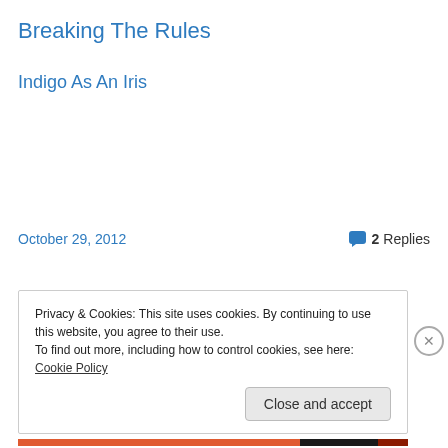Breaking The Rules
Indigo As An Iris
October 29, 2012
2 Replies
Privacy & Cookies: This site uses cookies. By continuing to use this website, you agree to their use.
To find out more, including how to control cookies, see here: Cookie Policy
Close and accept